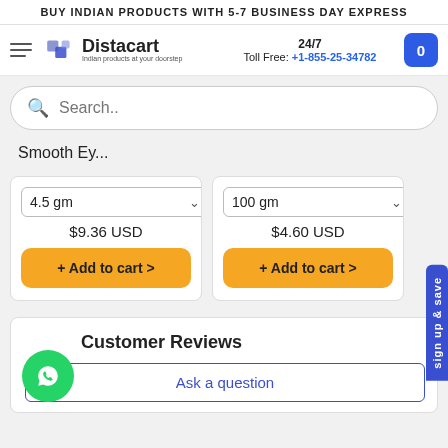BUY INDIAN PRODUCTS WITH 5-7 BUSINESS DAY EXPRESS
[Figure (logo): Distacart logo with tagline 'Indian products at your doorstep']
24/7 Toll Free: +1-855-25-34782
Search..
Smooth Ey...
4.5 gm
$9.36 USD
+ Add to cart >
100 gm
$4.60 USD
+ Add to cart >
Customer Reviews
Ask a question